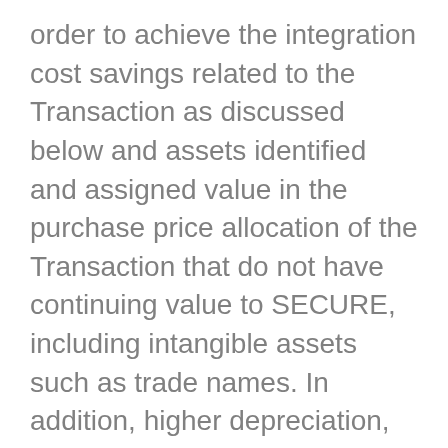order to achieve the integration cost savings related to the Transaction as discussed below and assets identified and assigned value in the purchase price allocation of the Transaction that do not have continuing value to SECURE, including intangible assets such as trade names. In addition, higher depreciation, depletion and amortization ("DD&A"), $23 million of higher finance costs associated with debt assumed during the Transaction and incurring $10 million of transaction costs were partially offset by higher period over period Adjusted EBITDA as described below and an